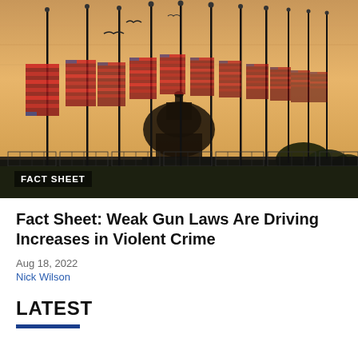[Figure (photo): Photograph of multiple American flags flying at half-staff on tall poles in front of the US Capitol building dome at golden/sunset hour. Birds visible in sky. Metal security fencing visible in foreground. Warm orange-yellow sky backdrop.]
FACT SHEET
Fact Sheet: Weak Gun Laws Are Driving Increases in Violent Crime
Aug 18, 2022
Nick Wilson
LATEST